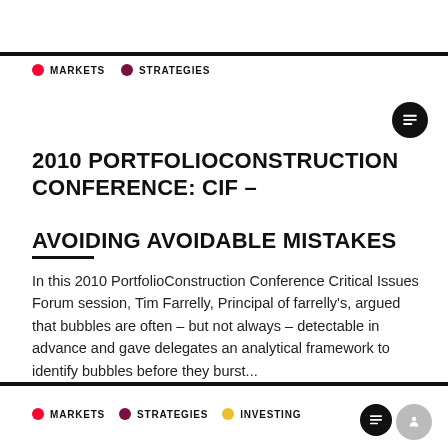MARKETS  STRATEGIES
2010 PORTFOLIOCONSTRUCTION CONFERENCE: CIF – AVOIDING AVOIDABLE MISTAKES
In this 2010 PortfolioConstruction Conference Critical Issues Forum session, Tim Farrelly, Principal of farrelly's, argued that bubbles are often – but not always – detectable in advance and gave delegates an analytical framework to identify bubbles before they burst...
MARKETS  STRATEGIES  INVESTING